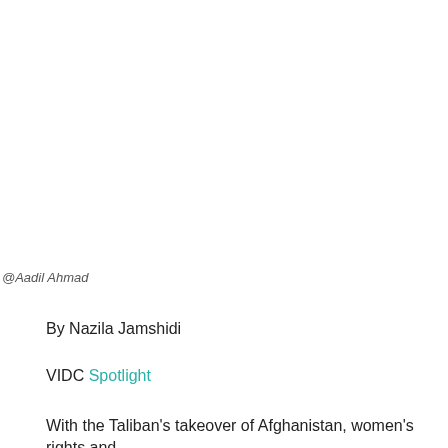@Aadil Ahmad
By Nazila Jamshidi
VIDC Spotlight
With the Taliban's takeover of Afghanistan, women's rights and